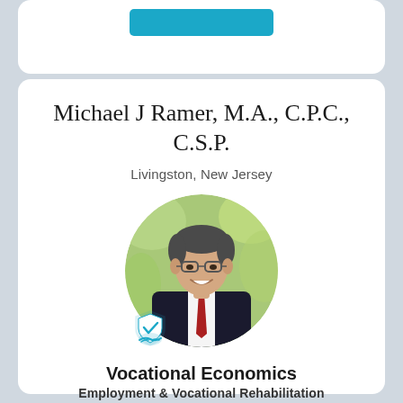[Figure (other): Partial top card with a teal 'View This Expert' button, cropped at top of page]
Michael J Ramer, M.A., C.P.C., C.S.P.
Livingston, New Jersey
[Figure (photo): Circular headshot of Michael J Ramer, a professional man in a dark suit and red tie, smiling, with green foliage background. A blue shield/handshake badge icon is overlaid at lower left of the circle.]
Vocational Economics
Employment & Vocational Rehabilitation
View This Expert